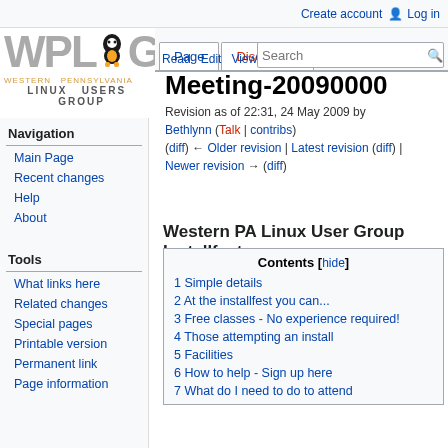Create account  Log in
[Figure (logo): WPLUG - Western Pennsylvania Linux Users Group logo with Tux penguin]
Page | Discussion | Read | Edit | View histo
Meeting-20090000
Revision as of 22:31, 24 May 2009 by Bethlynn (Talk | contribs) (diff) ← Older revision | Latest revision (diff) | Newer revision → (diff)
Navigation
Main Page
Recent changes
Help
About
Tools
What links here
Related changes
Special pages
Printable version
Permanent link
Page information
Western PA Linux User Group Installfest
| Contents [hide] |
| --- |
| 1 Simple details |
| 2 At the installfest you can... |
| 3 Free classes - No experience required! |
| 4 Those attempting an install |
| 5 Facilities |
| 6 How to help - Sign up here |
| 7 What do I need to do to attend |